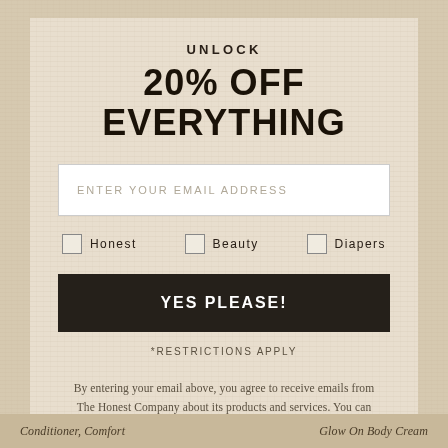UNLOCK
20% OFF EVERYTHING
ENTER YOUR EMAIL ADDRESS
Honest
Beauty
Diapers
YES PLEASE!
*RESTRICTIONS APPLY
By entering your email above, you agree to receive emails from The Honest Company about its products and services. You can unsubscribe at any time.
Conditioner, Comfort
Glow On Body Cream